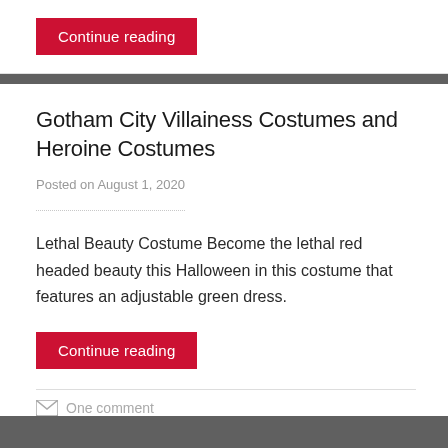Continue reading
Gotham City Villainess Costumes and Heroine Costumes
Posted on August 1, 2020
Lethal Beauty Costume Become the lethal red headed beauty this Halloween in this costume that features an adjustable green dress.
Continue reading
One comment